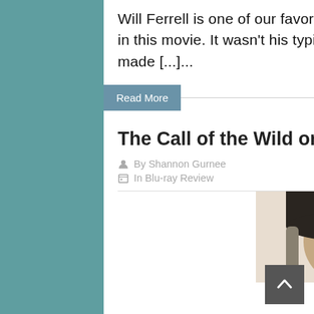Will Ferrell is one of our favorite actors to watch and he did a great job in this movie. It wasn't his typical comedian role either, which I think made [...]...
Read More
The Call of the Wild on Movies Anywhere + Digital
By Shannon Gurnee
In Blu-ray Review
[Figure (photo): Partial photo of a man wearing a dark knit cap/beret, with long gray hair visible, looking to one side with a serious expression. The image is in dark, muted tones on a light background.]